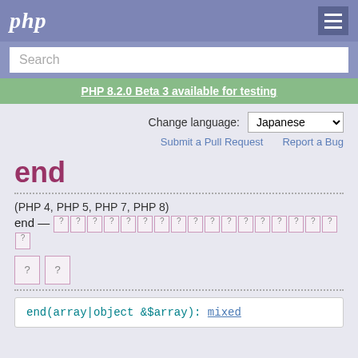php
Search
PHP 8.2.0 Beta 3 available for testing
Change language: Japanese
Submit a Pull Request   Report a Bug
end
(PHP 4, PHP 5, PHP 7, PHP 8)
end — [Japanese characters - function description]
[Figure (other): Two bordered Japanese character boxes]
end(array|object &$array): mixed